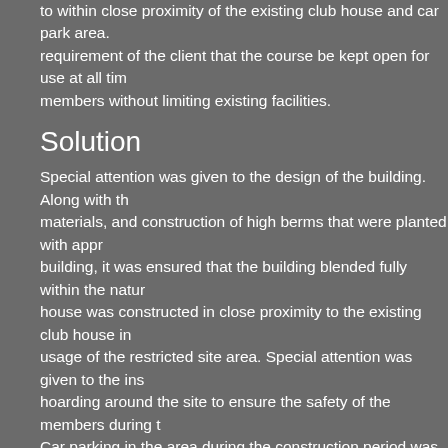to within close proximity of the existing club house and car park area. requirement of the client that the course be kept open for use at all times members without limiting existing facilities.
Solution
Special attention was given to the design of the building. Along with the materials, and construction of high berms that were planted with appropriate building, it was ensured that the building blended fully within the natural house was constructed in close proximity to the existing club house in usage of the restricted site area. Special attention was given to the installation of hoarding around the site to ensure the safety of the members during the works. Car parking in the area during the construction period was strictly monitored and did not overspill onto adjoining areas. A restricted regime was imposed limiting the area of the site for construction and storage along with controlled removal of materials and rubbish in order to avoid undue damage to the
Outcome
A Modern Clubhouse building was completed for St. Anne's Golf Club nature reserve. Local habitats were not disrupted and the development